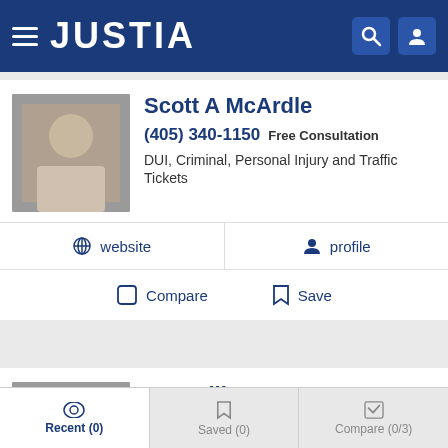JUSTIA
Scott A McArdle
(405) 340-1150 Free Consultation
DUI, Criminal, Personal Injury and Traffic Tickets
website
profile
Compare
Save
J. P. Hill
10.0 ★★★★★ (1 Peer Review)
(405) 768-2411 Free Consultation
website
profile
email
Recent (0)
Saved (0)
Compare (0/3)